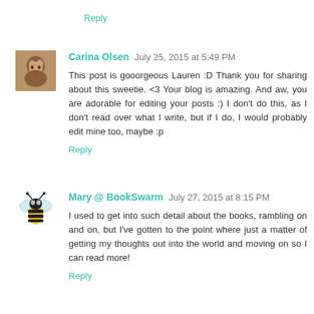Reply
Carina Olsen July 25, 2015 at 5:49 PM
This post is gooorgeous Lauren :D Thank you for sharing about this sweetie. <3 Your blog is amazing. And aw, you are adorable for editing your posts :) I don't do this, as I don't read over what I write, but if I do, I would probably edit mine too, maybe :p
Reply
Mary @ BookSwarm July 27, 2015 at 8:15 PM
I used to get into such detail about the books, rambling on and on, but I've gotten to the point where just a matter of getting my thoughts out into the world and moving on so I can read more!
Reply